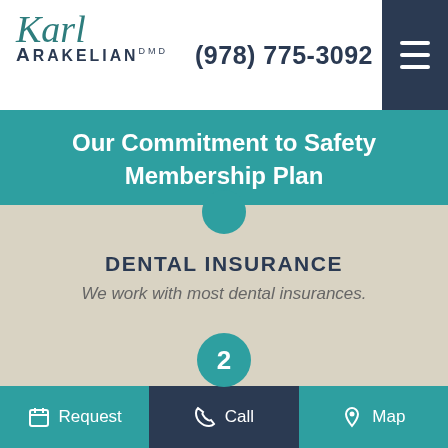Karl Arakelian DDS — (978) 775-3092
Our Commitment to Safety Membership Plan
DENTAL INSURANCE
We work with most dental insurances.
CHURCH STREET DENTAL PLAN
No insurance? Join our flexible plan!
Request  Call  Map